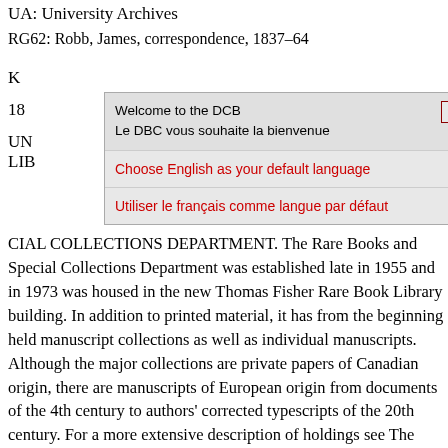UA: University Archives
RG62: Robb, James, correspondence, 1837–64
K
18
UN
LIB
[Figure (screenshot): Modal dialog box with bilingual welcome message. Header: 'Welcome to the DCB / Le DBC vous souhaite la bienvenue' with a close button marked X. Two options: 'Choose English as your default language' and 'Utiliser le français comme langue par défaut', both in red text on light grey background.]
CIAL COLLECTIONS DEPARTMENT. The Rare Books and Special Collections Department was established late in 1955 and in 1973 was housed in the new Thomas Fisher Rare Book Library building. In addition to printed material, it has from the beginning held manuscript collections as well as individual manuscripts. Although the major collections are private papers of Canadian origin, there are manuscripts of European origin from documents of the 4th century to authors' corrected typescripts of the 20th century. For a more extensive description of holdings see The Thomas Fisher Rare Book Library: a brief guide to the collections ([Toronto], 1974).